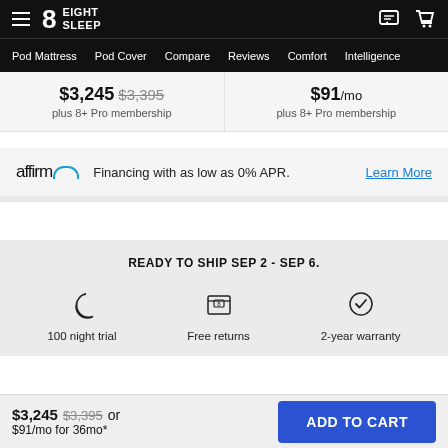Eight Sleep — Pod Mattress | Pod Cover | Compare | Reviews | Comfort | Intelligence
$3,245 $3,395 plus 8+ Pro membership | $91/mo plus 8+ Pro membership
affirm — Financing with as low as 0% APR. Learn More
READY TO SHIP SEP 2 - SEP 6.
100 night trial | Free returns | 2-year warranty
$3,245 $3,395 or $91/mo for 36mo* ADD TO CART